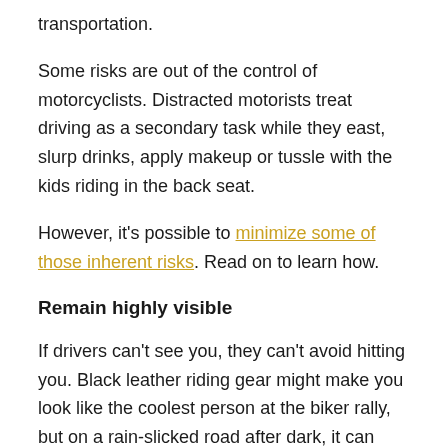transportation.
Some risks are out of the control of motorcyclists. Distracted motorists treat driving as a secondary task while they east, slurp drinks, apply makeup or tussle with the kids riding in the back seat.
However, it's possible to minimize some of those inherent risks. Read on to learn how.
Remain highly visible
If drivers can't see you, they can't avoid hitting you. Black leather riding gear might make you look like the coolest person at the biker rally, but on a rain-slicked road after dark, it can make you practically invisible.